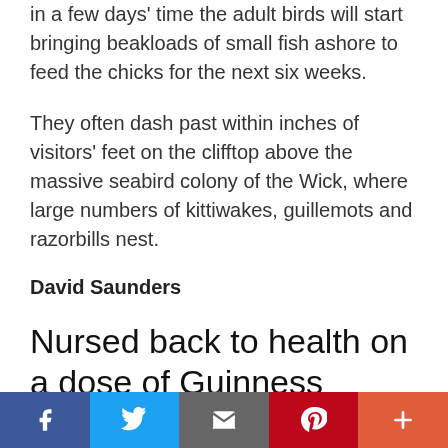in a few days' time the adult birds will start bringing beakloads of small fish ashore to feed the chicks for the next six weeks.
They often dash past within inches of visitors' feet on the clifftop above the massive seabird colony of the Wick, where large numbers of kittiwakes, guillemots and razorbills nest.
David Saunders
Nursed back to health on a dose of Guinness
SIR — In 1971, when in hospital with...